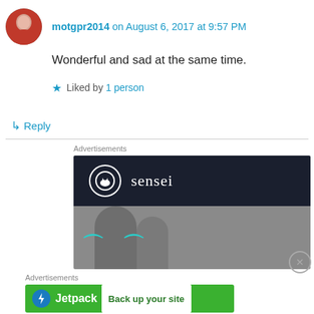motgpr2014 on August 6, 2017 at 9:57 PM
Wonderful and sad at the same time.
Liked by 1 person
Reply
[Figure (infographic): Sensei advertisement banner with dark navy background, circular logo, and product image below]
[Figure (infographic): Jetpack advertisement banner with green background, Jetpack logo and 'Back up your site' button]